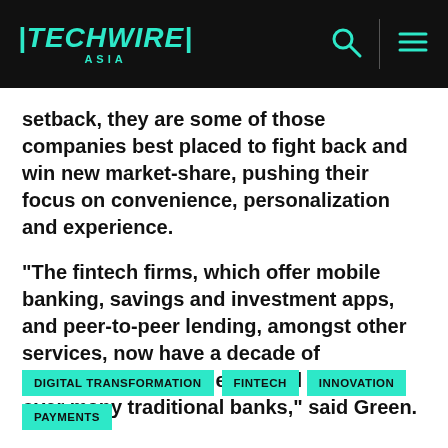TechWire Asia
setback, they are some of those companies best placed to fight back and win new market-share, pushing their focus on convenience, personalization and experience.
“The fintech firms, which offer mobile banking, savings and investment apps, and peer-to-peer lending, amongst other services, now have a decade of development, experience and expertise over many traditional banks,” said Green.
DIGITAL TRANSFORMATION
FINTECH
INNOVATION
PAYMENTS